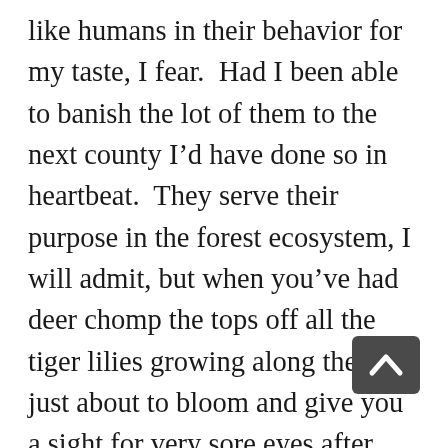like humans in their behavior for my taste, I fear.  Had I been able to banish the lot of them to the next county I'd have done so in heartbeat.  They serve their purpose in the forest ecosystem, I will admit, but when you've had deer chomp the tops off all the tiger lilies growing along the road just about to bloom and give you a sight for very sore eyes after months of looking at snow,  you find little charity in your heart for our four-legged friends.  You'd prefer to see them at the bottom of the